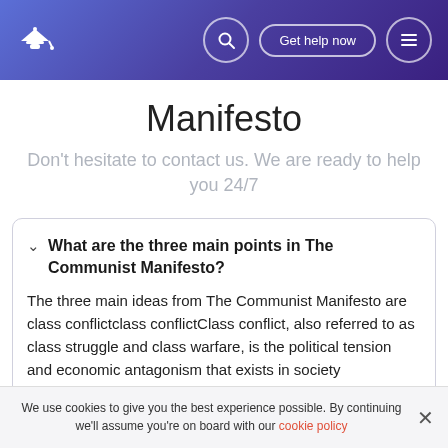Manifesto — site header with logo, search, Get help now button, menu
Manifesto
Don't hesitate to contact us. We are ready to help you 24/7
What are the three main points in The Communist Manifesto?
The three main ideas from The Communist Manifesto are class conflictclass conflictClass conflict, also referred to as class struggle and class warfare, is the political tension and economic antagonism that exists in society consequent to socio-economic
authored The Communist Manifesto with Marx and
We use cookies to give you the best experience possible. By continuing we'll assume you're on board with our cookie policy